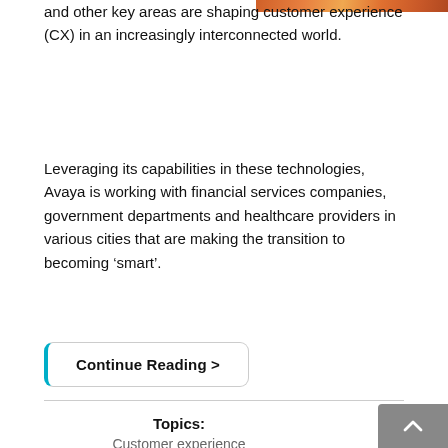[Figure (photo): Partial colorful image visible at top right corner of the page, appears to show an abstract or technology-related illustration with orange and warm tones.]
and other key areas are shaping customer experience (CX) in an increasingly interconnected world.
Leveraging its capabilities in these technologies, Avaya is working with financial services companies, government departments and healthcare providers in various cities that are making the transition to becoming ‘smart’.
Continue Reading >
Topics:
Customer experience